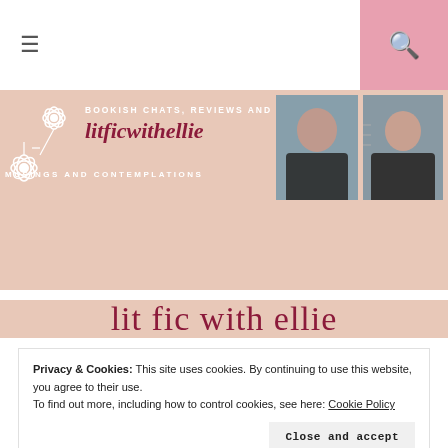≡ (hamburger menu) | 🔍 (search icon)
[Figure (illustration): Website header banner with light peach/blush background. Contains decorative white flowers on left, script text 'litficwithellie' in dark red, text 'BOOKISH CHATS, REVIEWS AND MORE' and 'MUSINGS AND CONTEMPLATIONS' in white capitals, and two photos of a woman against a bookshelf background.]
lit fic with ellie
Privacy & Cookies: This site uses cookies. By continuing to use this website, you agree to their use.
To find out more, including how to control cookies, see here: Cookie Policy
Close and accept